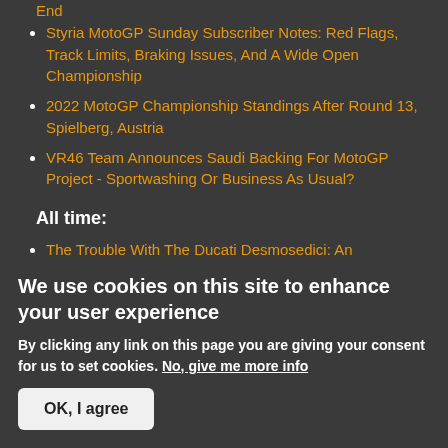End
Styria MotoGP Sunday Subscriber Notes: Red Flags, Track Limits, Braking Issues, And A Wide Open Championship
2022 MotoGP Championship Standings After Round 13, Spielberg, Austria
VR46 Team Announces Saudi Backing For MotoGP Project - Sportwashing Or Business As Usual?
All time:
The Trouble With The Ducati Desmosedici: An Exhaustive Analysis
We use cookies on this site to enhance your user experience
By clicking any link on this page you are giving your consent for us to set cookies. No, give me more info
OK, I agree